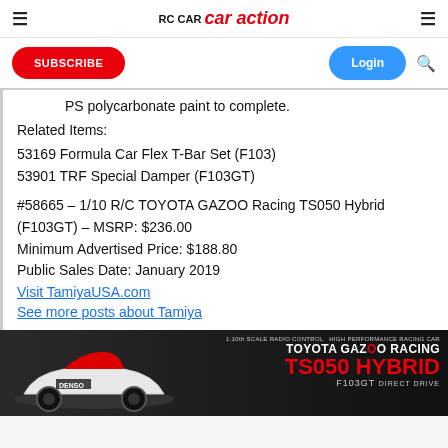RC Car Action — caraction.com
PS polycarbonate paint to complete.
Related Items:
53169 Formula Car Flex T-Bar Set (F103)
53901 TRF Special Damper (F103GT)
#58665 – 1/10 R/C TOYOTA GAZOO Racing TS050 Hybrid (F103GT) – MSRP: $236.00
Minimum Advertised Price: $188.80
Public Sales Date: January 2019
Visit TamiyaUSA.com
See more posts about Tamiya
[Figure (photo): Toyota GAZOO Racing TS050 HYBRID F103GT RC car product image with red/white livery and DENSO branding]